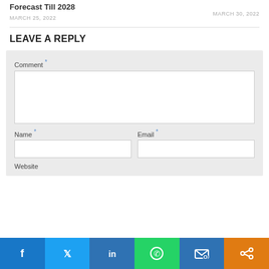Forecast Till 2028
MARCH 25, 2022
MARCH 30, 2022
LEAVE A REPLY
Comment *
Name *
Email *
Website
[Figure (other): Social media sharing bar with Facebook, Twitter, LinkedIn, WhatsApp, Email, and Share icons]